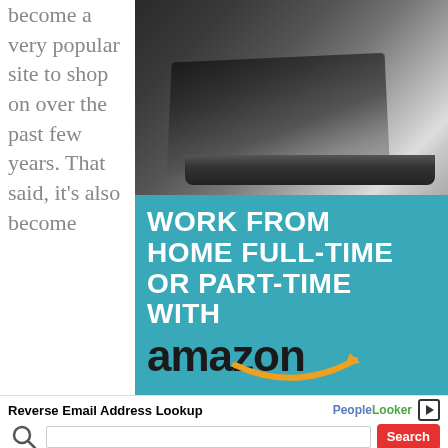become a very popular site to shop on over the past few years. That said, it's also become
[Figure (photo): Black and white photo of a laptop keyboard, partially open, resting on bedding]
[Figure (infographic): Teal advertisement banner reading 'WORK FROM HOME FULL-TIME OR PART-TIME WITH amazon' with amazon logo and arrow]
Reverse Email Address Lookup
[Figure (logo): PeopleLooker logo]
Search